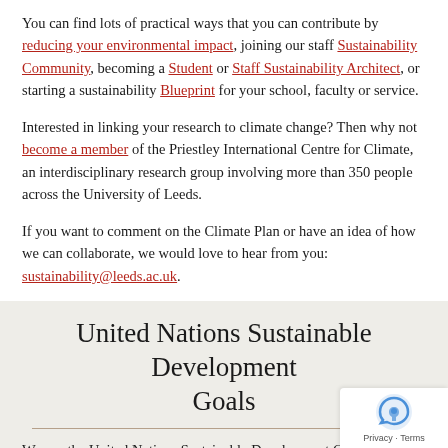You can find lots of practical ways that you can contribute by reducing your environmental impact, joining our staff Sustainability Community, becoming a Student or Staff Sustainability Architect, or starting a sustainability Blueprint for your school, faculty or service.
Interested in linking your research to climate change? Then why not become a member of the Priestley International Centre for Climate, an interdisciplinary research group involving more than 350 people across the University of Leeds.
If you want to comment on the Climate Plan or have an idea of how we can collaborate, we would love to hear from you: sustainability@leeds.ac.uk.
United Nations Sustainable Development Goals
We use the United Nations Sustainable Development Goals (SDGs) as a framework to guide our activity. Our Climate Plan is linked to the following SDGs:
Goal 13: Climate action